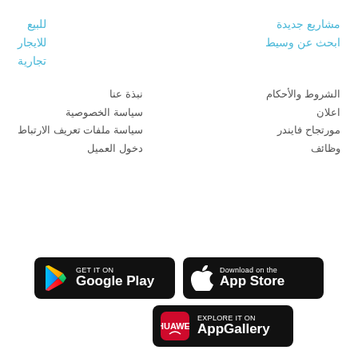للبيع
مشاريع جديدة
للايجار
ابحث عن وسيط
تجارية
نبذة عنا
الشروط والأحكام
سياسة الخصوصية
اعلان
سياسة ملفات تعريف الارتباط
مورتجاح فايندر
دخول العميل
وظائف
[Figure (logo): Google Play store badge - black rounded rectangle with Google Play triangle logo and text GET IT ON Google Play]
[Figure (logo): Apple App Store badge - black rounded rectangle with Apple logo and text Download on the App Store]
[Figure (logo): Huawei AppGallery badge - black rounded rectangle with Huawei red icon and text EXPLORE IT ON AppGallery]